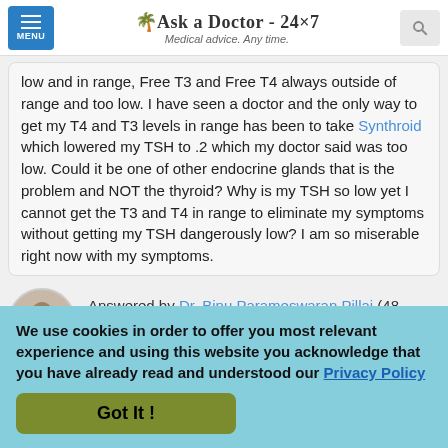🌴 Ask a Doctor - 24x7 — Medical advice. Any time.
low and in range, Free T3 and Free T4 always outside of range and too low. I have seen a doctor and the only way to get my T4 and T3 levels in range has been to take Synthroid which lowered my TSH to .2 which my doctor said was too low. Could it be one of other endocrine glands that is the problem and NOT the thyroid? Why is my TSH so low yet I cannot get the T3 and T4 in range to eliminate my symptoms without getting my TSH dangerously low? I am so miserable right now with my symptoms.
Answered by Dr. Binu Parameswaran Pillai (48 minutes later)
We use cookies in order to offer you most relevant experience and using this website you acknowledge that you have already read and understood our Privacy Policy
Got It !